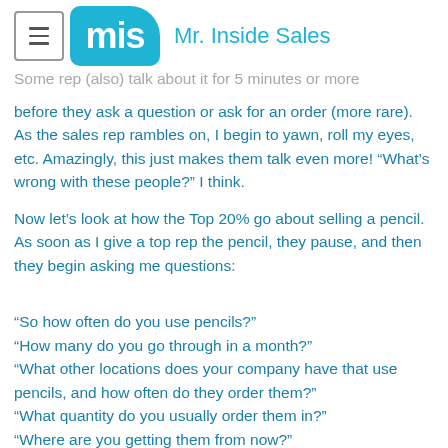mis  Mr. Inside Sales
Some rep (also) talk about it for 5 minutes or more before they ask a question or ask for an order (more rare). As the sales rep rambles on, I begin to yawn, roll my eyes, etc. Amazingly, this just makes them talk even more! “What’s wrong with these people?” I think.
Now let’s look at how the Top 20% go about selling a pencil. As soon as I give a top rep the pencil, they pause, and then they begin asking me questions:
“So how often do you use pencils?”
“How many do you go through in a month?”
“What other locations does your company have that use pencils, and how often do they order them?”
“What quantity do you usually order them in?”
“Where are you getting them from now?”